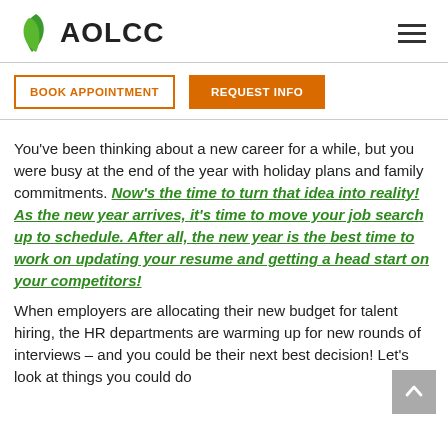[Figure (logo): AOLCC logo with green leaf icon and bold text 'AOLCC']
[Figure (other): Hamburger menu icon (three horizontal lines)]
BOOK APPOINTMENT
REQUEST INFO
You've been thinking about a new career for a while, but you were busy at the end of the year with holiday plans and family commitments. Now's the time to turn that idea into reality! As the new year arrives, it's time to move your job search up to schedule. After all, the new year is the best time to work on updating your resume and getting a head start on your competitors!
When employers are allocating their new budget for talent hiring, the HR departments are warming up for new rounds of interviews – and you could be their next best decision! Let's look at things you could do